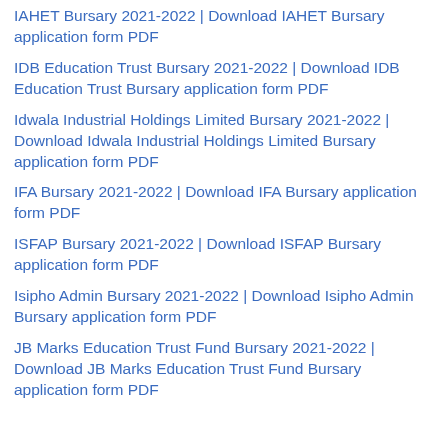IAHET Bursary 2021-2022 | Download IAHET Bursary application form PDF
IDB Education Trust Bursary 2021-2022 | Download IDB Education Trust Bursary application form PDF
Idwala Industrial Holdings Limited Bursary 2021-2022 | Download Idwala Industrial Holdings Limited Bursary application form PDF
IFA Bursary 2021-2022 | Download IFA Bursary application form PDF
ISFAP Bursary 2021-2022 | Download ISFAP Bursary application form PDF
Isipho Admin Bursary 2021-2022 | Download Isipho Admin Bursary application form PDF
JB Marks Education Trust Fund Bursary 2021-2022 | Download JB Marks Education Trust Fund Bursary application form PDF